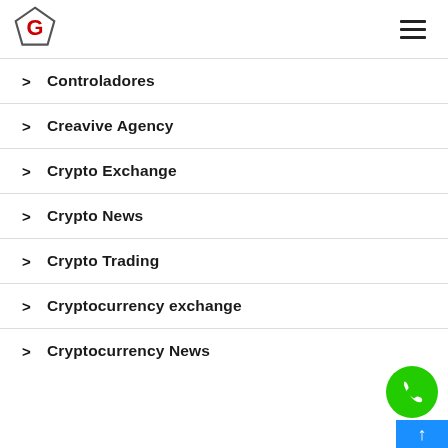G logo and hamburger menu
> Controladores
> Creavive Agency
> Crypto Exchange
> Crypto News
> Crypto Trading
> Cryptocurrency exchange
> Cryptocurrency News